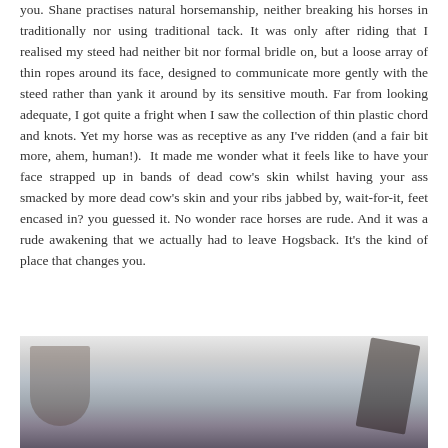you. Shane practises natural horsemanship, neither breaking his horses in traditionally nor using traditional tack. It was only after riding that I realised my steed had neither bit nor formal bridle on, but a loose array of thin ropes around its face, designed to communicate more gently with the steed rather than yank it around by its sensitive mouth. Far from looking adequate, I got quite a fright when I saw the collection of thin plastic chord and knots. Yet my horse was as receptive as any I've ridden (and a fair bit more, ahem, human!). It made me wonder what it feels like to have your face strapped up in bands of dead cow's skin whilst having your ass smacked by more dead cow's skin and your ribs jabbed by, wait-for-it, feet encased in? you guessed it. No wonder race horses are rude. And it was a rude awakening that we actually had to leave Hogsback. It's the kind of place that changes you.
[Figure (photo): A photograph partially visible at the bottom of the page, showing what appears to be an outdoor winter scene with trees and snow/sky visible.]